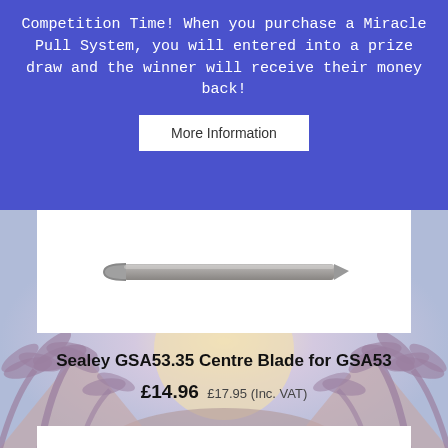Competition Time! When you purchase a Miracle Pull System, you will entered into a prize draw and the winner will receive their money back!
More Information
[Figure (photo): A metal centre blade tool (Sealey GSA53.35) shown against a white background, elongated flat bar with rounded C-shaped end.]
Sealey GSA53.35 Centre Blade for GSA53
£14.96 £17.95 (Inc. VAT)